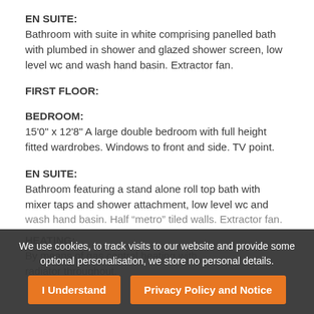EN SUITE:
Bathroom with suite in white comprising panelled bath with plumbed in shower and glazed shower screen, low level wc and wash hand basin. Extractor fan.
FIRST FLOOR:
BEDROOM:
15'0" x 12'8" A large double bedroom with full height fitted wardrobes. Windows to front and side. TV point.
EN SUITE:
Bathroom featuring a stand alone roll top bath with mixer taps and shower attachment, low level wc and wash hand basin. Half “metro” tiled walls. Extractor fan.
HEATING:
By me... (partially obscured)
We use cookies, to track visits to our website and provide some optional personalisation, we store no personal details.